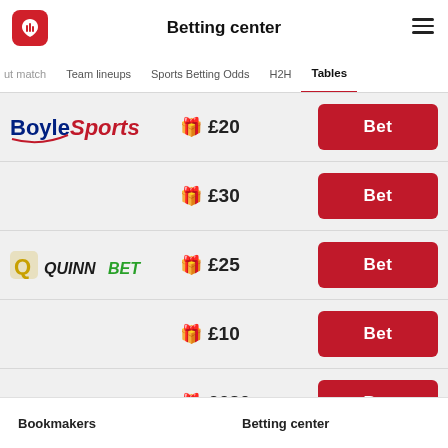Betting center
ut match  Team lineups  Sports Betting Odds  H2H  Tables
| Bookmaker | Bonus | Action |
| --- | --- | --- |
| BoyleSports | £20 | Bet |
|  | £30 | Bet |
| QuinnBet | £25 | Bet |
|  | £10 | Bet |
|  | ££20 | Bet |
Bookmakers   Betting center